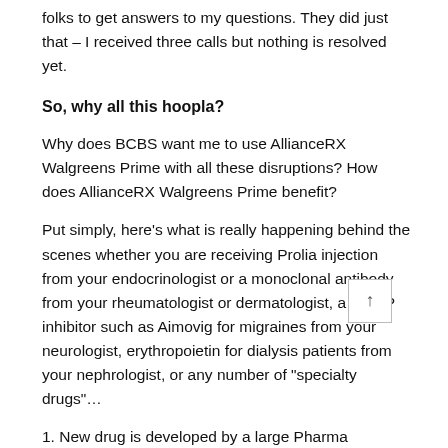folks to get answers to my questions. They did just that – I received three calls but nothing is resolved yet.
So, why all this hoopla?
Why does BCBS want me to use AllianceRX Walgreens Prime with all these disruptions?  How does AllianceRX Walgreens Prime benefit?
Put simply, here's what is really happening behind the scenes whether you are receiving Prolia injection from your endocrinologist or a monoclonal antibody from your rheumatologist or dermatologist, a CGRP inhibitor such as Aimovig for migraines from your neurologist, erythropoietin for dialysis patients from your nephrologist, or any number of "specialty drugs"...
1.  New drug is developed by a large Pharma company